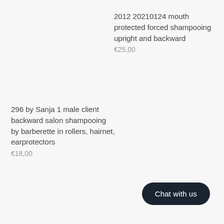2012 20210124 mouth protected forced shampooing upright and backward
€25,00
296 by Sanja 1 male client backward salon shampooing by barberette in rollers, hairnet, earprotectors
€18,00
Chat with us